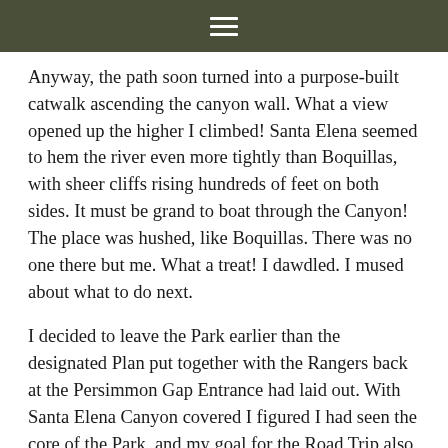≡
Anyway, the path soon turned into a purpose-built catwalk ascending the canyon wall. What a view opened up the higher I climbed! Santa Elena seemed to hem the river even more tightly than Boquillas, with sheer cliffs rising hundreds of feet on both sides. It must be grand to boat through the Canyon! The place was hushed, like Boquillas. There was no one there but me. What a treat! I dawdled. I mused about what to do next.
I decided to leave the Park earlier than the designated Plan put together with the Rangers back at the Persimmon Gap Entrance had laid out. With Santa Elena Canyon covered I figured I had seen the core of the Park, and my goal for the Road Trip also called for exploring places for real-deal rambling. Such freedom is not to be found in National Parks. I had hiked and 4-wheeled the heart of Big Bend. Do not underestimate